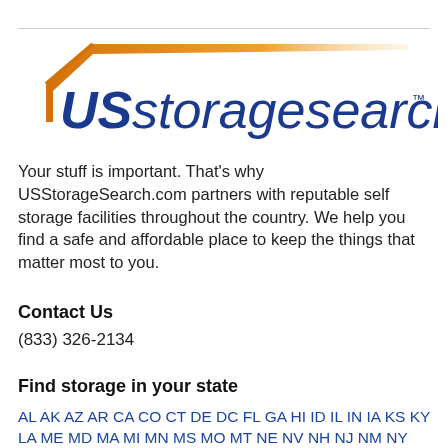[Figure (logo): USstoragesearch.com logo with orange roof/house icon and blue bold italic text]
Your stuff is important. That's why USStorageSearch.com partners with reputable self storage facilities throughout the country. We help you find a safe and affordable place to keep the things that matter most to you.
Contact Us
(833) 326-2134
Find storage in your state
AL AK AZ AR CA CO CT DE DC FL GA HI ID IL IN IA KS KY LA ME MD MA MI MN MS MO MT NE NV NH NJ NM NY